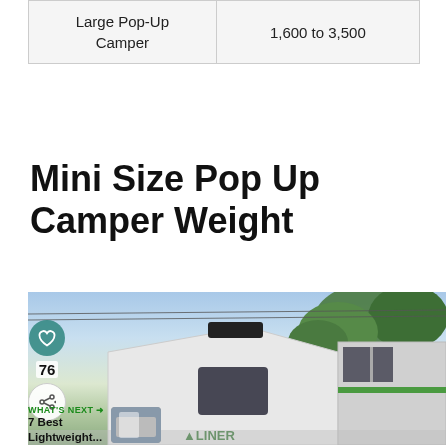| Large Pop-Up Camper | 1,600 to 3,500 |
Mini Size Pop Up Camper Weight
[Figure (photo): A white mini pop-up camper (A-Liner brand) photographed outdoors with trees and sky in background, with social media sidebar showing heart icon, count 76, and share icon, plus a 'What's Next' preview panel showing '7 Best Lightweight...' with a thumbnail.]